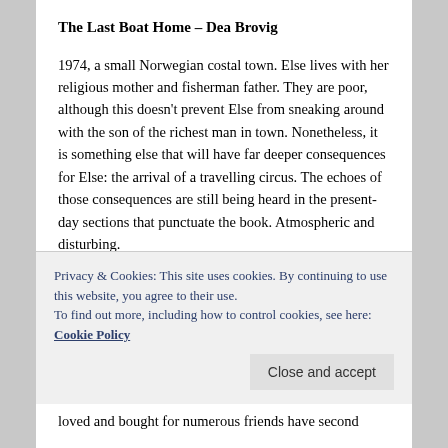The Last Boat Home – Dea Brovig
1974, a small Norwegian costal town. Else lives with her religious mother and fisherman father. They are poor, although this doesn't prevent Else from sneaking around with the son of the richest man in town. Nonetheless, it is something else that will have far deeper consequences for Else: the arrival of a travelling circus. The echoes of those consequences are still being heard in the present-day sections that punctuate the book. Atmospheric and disturbing.
Published: 13th March 2014 by Hutchinson
There is also a handful of books I haven't had the
Privacy & Cookies: This site uses cookies. By continuing to use this website, you agree to their use.
To find out more, including how to control cookies, see here: Cookie Policy
loved and bought for numerous friends have second